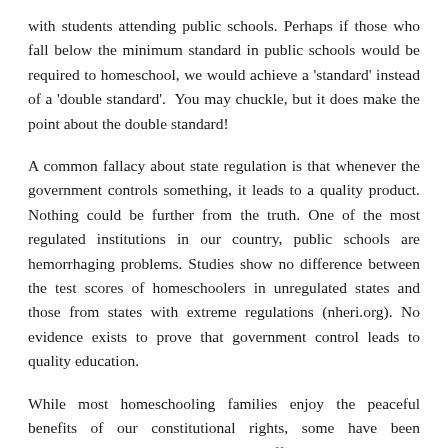with students attending public schools. Perhaps if those who fall below the minimum standard in public schools would be required to homeschool, we would achieve a 'standard' instead of a 'double standard'. You may chuckle, but it does make the point about the double standard!
A common fallacy about state regulation is that whenever the government controls something, it leads to a quality product. Nothing could be further from the truth. One of the most regulated institutions in our country, public schools are hemorrhaging problems. Studies show no difference between the test scores of homeschoolers in unregulated states and those from states with extreme regulations (nheri.org). No evidence exists to prove that government control leads to quality education.
While most homeschooling families enjoy the peaceful benefits of our constitutional rights, some have been traumatized by intimidating school officials. Overextending their jurisdiction, these government employees attempt to coerce families to comply with illegal regulations. Knowledge is power; it dispels fear. Parents that